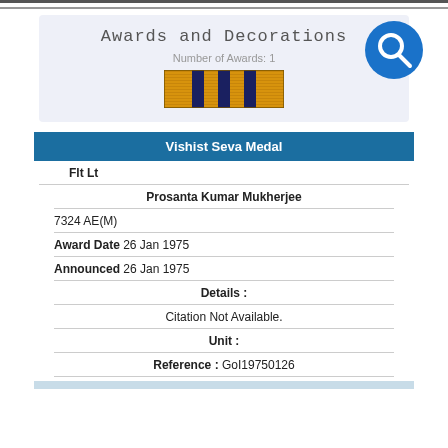Awards and Decorations
Number of Awards: 1
[Figure (illustration): Military medal ribbon bar - Vishist Seva Medal ribbon with gold/orange stripes and dark blue vertical bars]
Vishist Seva Medal
Flt Lt
Prosanta Kumar Mukherjee
7324 AE(M)
Award Date 26 Jan 1975
Announced 26 Jan 1975
Details :
Citation Not Available.
Unit :
Reference : GoI19750126